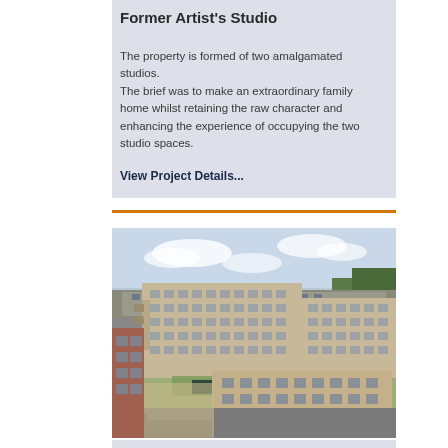Former Artist's Studio
The property is formed of two amalgamated studios. The brief was to make an extraordinary family home whilst retaining the raw character and enhancing the experience of occupying the two studio spaces.
View Project Details...
[Figure (photo): Aerial/elevated view of a large modern residential apartment complex with brick and stone facade, multiple storeys, balconies, courtyard with greenery, surrounded by roads and trees.]